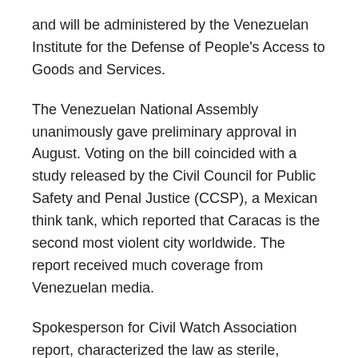and will be administered by the Venezuelan Institute for the Defense of People's Access to Goods and Services.
The Venezuelan National Assembly unanimously gave preliminary approval in August. Voting on the bill coincided with a study released by the Civil Council for Public Safety and Penal Justice (CCSP), a Mexican think tank, which reported that Caracas is the second most violent city worldwide. The report received much coverage from Venezuelan media.
Spokesperson for Civil Watch Association report, characterized the law as sterile, however, in light of recent statements by national leaders inciting civilians to be prepared for armed conflict.
Thumbnail Image: